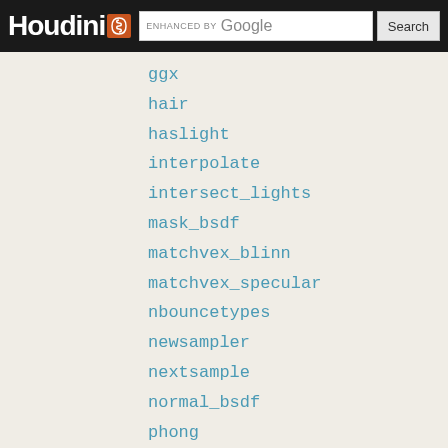Houdini | ENHANCED BY Google | Search
ggx
hair
haslight
interpolate
intersect_lights
mask_bsdf
matchvex_blinn
matchvex_specular
nbouncetypes
newsampler
nextsample
normal_bsdf
phong
phonglobe
sample_bsdf
sample_cdf